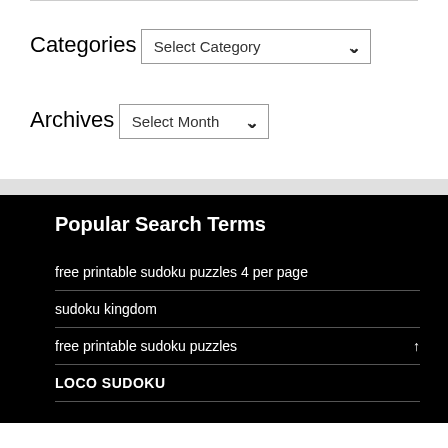Categories
[Figure (screenshot): Select Category dropdown widget]
Archives
[Figure (screenshot): Select Month dropdown widget]
Popular Search Terms
free printable sudoku puzzles 4 per page
sudoku kingdom
free printable sudoku puzzles
LOCO SUDOKU